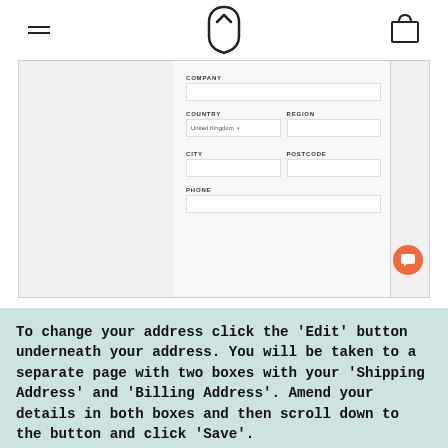[hamburger menu icon] [logo] [bag icon]
[Figure (screenshot): Screenshot of a website address form showing fields: COMPANY (text input), COUNTRY (dropdown with 'United Kingdom' selected) and REGION side by side, CITY and POSTCODE side by side, PHONE. An orange circular chat button is visible on the right edge.]
To change your address click the 'Edit' button underneath your address. You will be taken to a separate page with two boxes with your 'Shipping Address' and 'Billing Address'. Amend your details in both boxes and then scroll down to the button and click 'Save'.